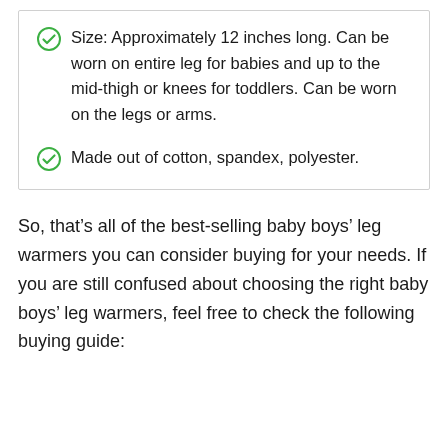Size: Approximately 12 inches long. Can be worn on entire leg for babies and up to the mid-thigh or knees for toddlers. Can be worn on the legs or arms.
Made out of cotton, spandex, polyester.
So, that’s all of the best-selling baby boys’ leg warmers you can consider buying for your needs. If you are still confused about choosing the right baby boys’ leg warmers, feel free to check the following buying guide: